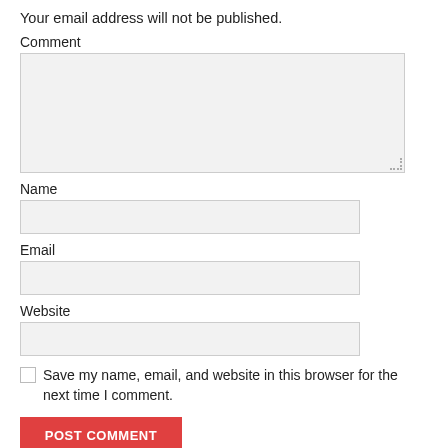Your email address will not be published.
Comment
Name
Email
Website
Save my name, email, and website in this browser for the next time I comment.
POST COMMENT